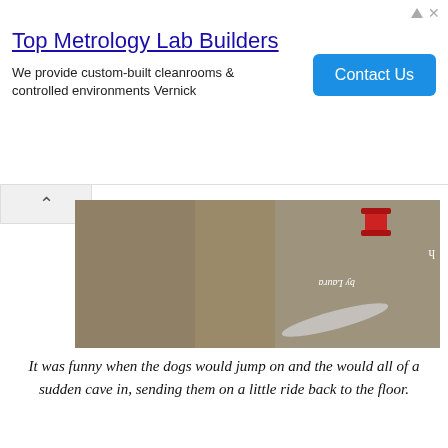[Figure (other): Advertisement banner: Top Metrology Lab Builders - We provide custom-built cleanrooms & controlled environments Vernick, with Contact Us button]
[Figure (photo): Partial photo showing fabric/canvas material with a red spool thread, 'by Laura' text visible upside down]
It was funny when the dogs would jump on and the would all of a sudden cave in, sending them on a little ride back to the floor.
[Figure (photo): Photo of wooden board/platform with mending plates on both joints, pink arrows pointing to the mending plates, labeled 'Mending plates on both joints']